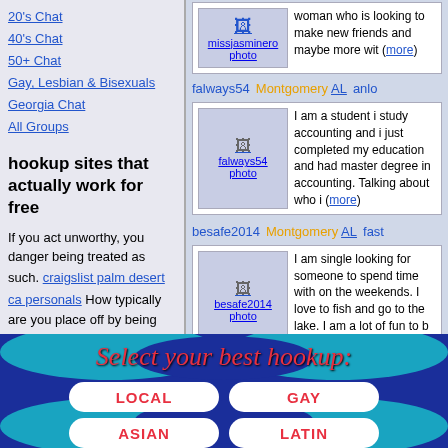20's Chat
40's Chat
50+ Chat
Gay, Lesbian & Bisexuals
Georgia Chat
All Groups
hookup sites that actually work for free
If you act unworthy, you danger being treated as such. craigslist palm desert ca personals How typically are you place off by being spotted by the man in IT or adding information like your surname, job or four filtered (it really is OK, we
[Figure (screenshot): Profile card for missjasminero with photo thumbnail and partial text about a young woman looking to make new friends]
falways54   Montgomery AL   anlo
[Figure (screenshot): Profile card for falways54 with photo thumbnail and text: I am a student i study accounting and i just completed my education and had master degree in accounting. Talking about who i (more)]
besafe2014   Montgomery AL   fast
[Figure (screenshot): Profile card for besafe2014 with photo thumbnail and text: I am single looking for someone to spend time with on the weekends. I love to fish and go to the lake. I am a lot of fun to b (more)]
[Figure (infographic): Dark blue banner with cursive red text 'Select your best hookup:' and four white pill-shaped buttons labeled LOCAL, GAY, ASIAN, LATIN with teal wave decorations]